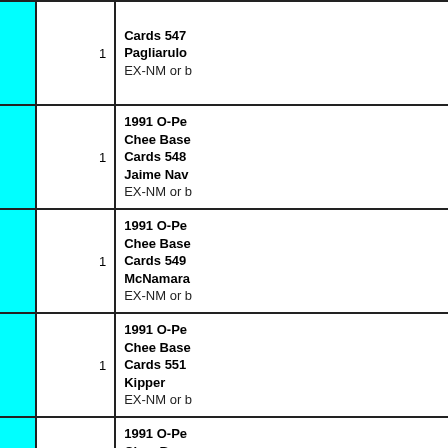|  | Qty | Description |
| --- | --- | --- |
|  | 1 | Cards 547 Pagliarulo EX-NM or better |
|  | 1 | 1991 O-Pe Chee Base Cards 548 Jaime Nav EX-NM or better |
|  | 1 | 1991 O-Pe Chee Base Cards 549 McNamara EX-NM or better |
|  | 1 | 1991 O-Pe Chee Base Cards 551 Kipper EX-NM or better |
|  | 1 | 1991 O-Pe Chee Base Cards 552 Hamilton EX-NM or better |
|  | 1 | 1991 O-Pe Chee Base Cards 553 Klink EX-NM or better |